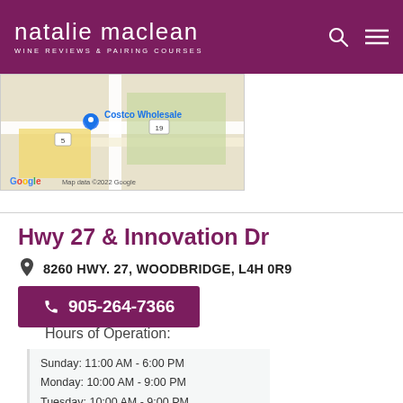natalie maclean WINE REVIEWS & PAIRING COURSES
[Figure (map): Google Map showing Costco Wholesale location with roads and surrounding areas. Map data ©2022 Google.]
Hwy 27 & Innovation Dr
8260 HWY. 27, WOODBRIDGE, L4H 0R9
905-264-7366
Hours of Operation:
Sunday: 11:00 AM - 6:00 PM
Monday: 10:00 AM - 9:00 PM
Tuesday: 10:00 AM - 9:00 PM
Wednesday: 10:00 AM - 9:00 PM